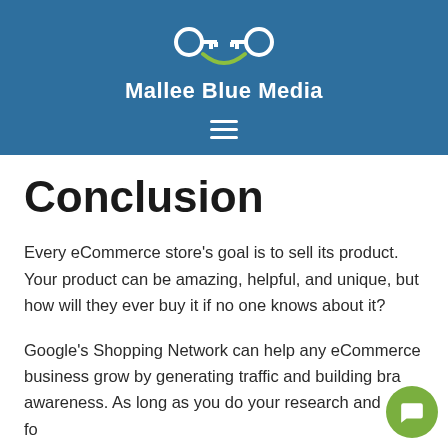[Figure (logo): Mallee Blue Media logo: icon of two circular key shapes connected, with a green curved line underneath, and text 'Mallee Blue Media' in white below on a blue background]
Every eCommerce store’s goal is to sell its product. Your product can be amazing, helpful, and unique, but how will they ever buy it if no one knows about it?
Google’s Shopping Network can help any eCommerce business grow by generating traffic and building brand awareness. As long as you do your research and fo…